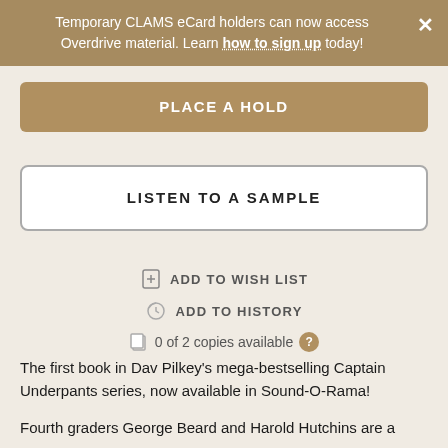Temporary CLAMS eCard holders can now access Overdrive material. Learn how to sign up today!
PLACE A HOLD
LISTEN TO A SAMPLE
ADD TO WISH LIST
ADD TO HISTORY
0 of 2 copies available
The first book in Dav Pilkey's mega-bestselling Captain Underpants series, now available in Sound-O-Rama!
Fourth graders George Beard and Harold Hutchins are a